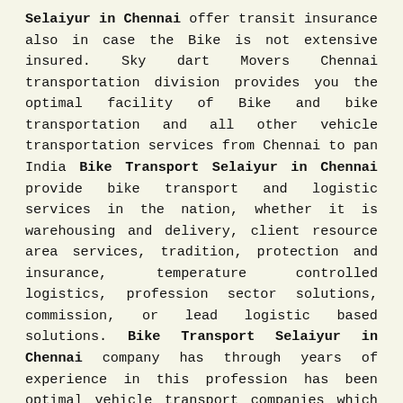Selaiyur in Chennai offer transit insurance also in case the Bike is not extensive insured. Sky dart Movers Chennai transportation division provides you the optimal facility of Bike and bike transportation and all other vehicle transportation services from Chennai to pan India Bike Transport Selaiyur in Chennai provide bike transport and logistic services in the nation, whether it is warehousing and delivery, client resource area services, tradition, protection and insurance, temperature controlled logistics, profession sector solutions, commission, or lead logistic based solutions. Bike Transport Selaiyur in Chennai company has through years of experience in this profession has been optimal vehicle transport companies which are able to Build a network of across the length and breadth of country, with our own logistic centers expansion throughout the country, which helps us to provide safe, Dependable, economical and customized logistic solutions to our clients and partners.